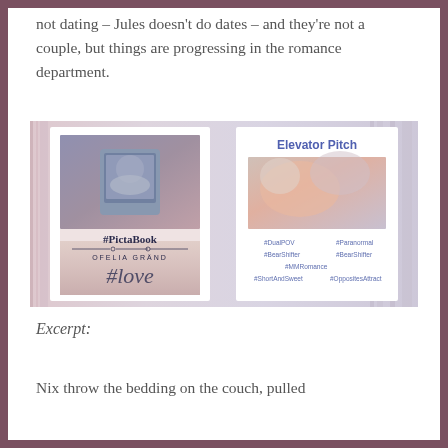not dating – Jules doesn't do dates – and they're not a couple, but things are progressing in the romance department.
[Figure (illustration): Two book cover cards side by side against a blurred library background. Left card shows book cover '#PictaBook' by Ofelia Gränd with '#love' text and a selfie photo of two men. Right card shows 'Elevator Pitch' with a blurred abstract image and hashtags: #DualPOV #Paranormal #BearShifter #BearShifter #MMRomance #ShortAndSweet #OppositesAttract]
Excerpt:
Nix throw the bedding on the couch, pulled